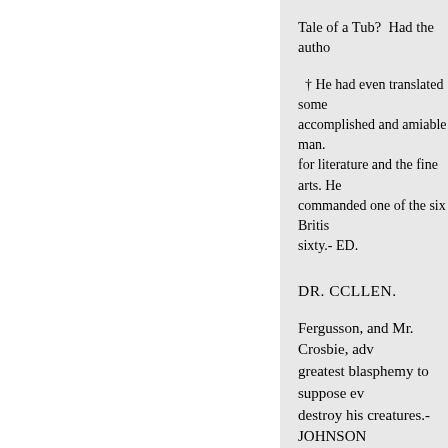Tale of a Tub? Had the author
† He had even translated some accomplished and amiable man. for literature and the fine arts. He commanded one of the six Britis sixty.- ED.
DR. CCLLEN.
Fergusson, and Mr. Crosbie, adv greatest blasphemy to suppose e destroy his creatures.-JOHNSON why may not physical evil be als than evil men, evil unembodied s things; and it is no worse that ev that witches should have effecte defending their credibility; I am belief of witchcraft. [Dr. Ferguss rude and civilised, agreeing in th must consider that wise and grea Parliament put an end to witchr Parliament was passed to preven we cannot tell the reason of man disquisition, with the grave addr